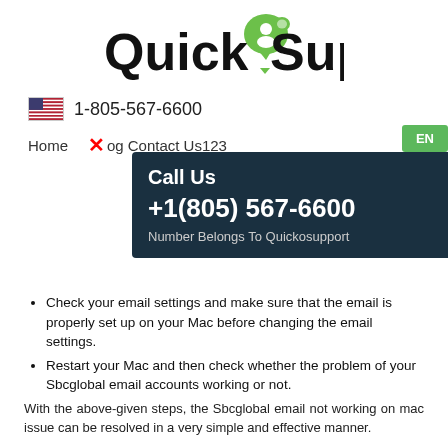[Figure (logo): QuickSupport logo with green person/chat icon]
🇺🇸 1-805-567-6600
Home  Blog  Contact Us123  EN
[Figure (infographic): Dark teal call-out box: Call Us +1(805) 567-6600 Number Belongs To Quickosupport]
Check your email settings and make sure that the email is properly set up on your Mac before changing the email settings.
Restart your Mac and then check whether the problem of your Sbcglobal email accounts working or not.
With the above-given steps, the Sbcglobal email not working on mac issue can be resolved in a very simple and effective manner.
User Comments
Leave a Comment